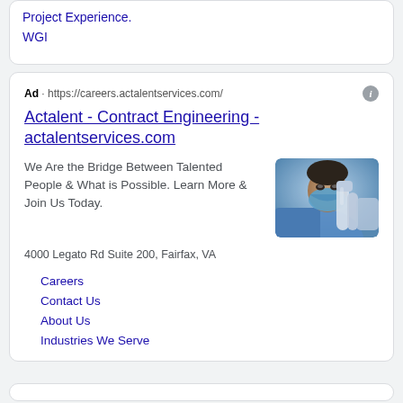Project Experience.
WGI
Ad · https://careers.actalentservices.com/
Actalent - Contract Engineering - actalentservices.com
We Are the Bridge Between Talented People & What is Possible. Learn More & Join Us Today.
[Figure (photo): Person in blue medical/lab attire, face mask, looking at microscope or lab equipment, close-up view]
4000 Legato Rd Suite 200, Fairfax, VA
Careers
Contact Us
About Us
Industries We Serve